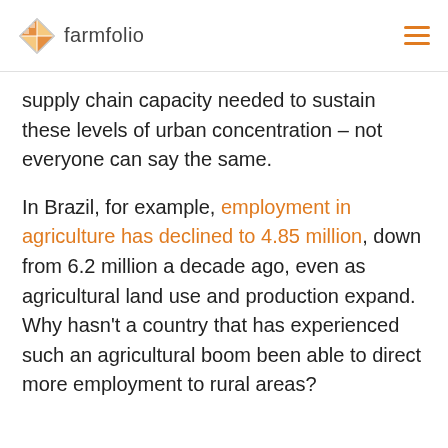farmfolio
over 80%. But both countries have been able to develop the infrastructure and supply chain capacity needed to sustain these levels of urban concentration – not everyone can say the same.
In Brazil, for example, employment in agriculture has declined to 4.85 million, down from 6.2 million a decade ago, even as agricultural land use and production expand. Why hasn't a country that has experienced such an agricultural boom been able to direct more employment to rural areas?